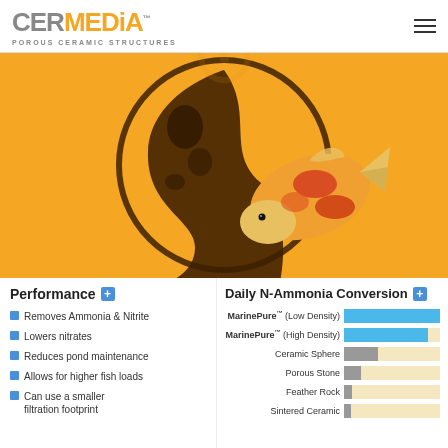[Figure (logo): CERMEDiA logo with tagline POROUS CERAMIC STRUCTURES]
[Figure (illustration): Orange background with illustrated koi fish in a yin-yang style circular brushstroke design]
Performance +
Removes Ammonia & Nitrite
Lowers nitrates
Reduces pond maintenance
Allows for higher fish loads
Can use a smaller filtration footprint
Daily N-Ammonia Conversion +
[Figure (bar-chart): Daily N-Ammonia Conversion]